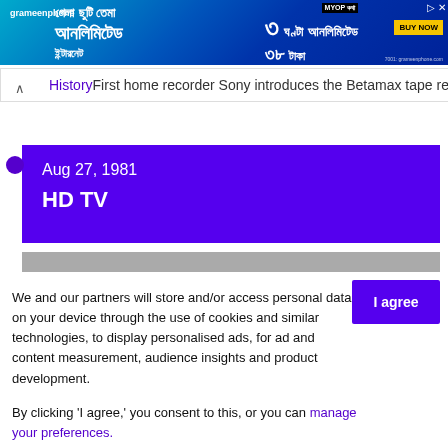[Figure (photo): Advertisement banner for Grameenphone featuring a man and Bengali text about unlimited internet, with a 'BUY NOW' button and '৩ ঘণ্টা আনলিমিটেড ৩৮ টাকা' offer]
History First home recorder Sony introduces the Betamax tape recorder
Aug 27, 1981
HD TV
We and our partners will store and/or access personal data on your device through the use of cookies and similar technologies, to display personalised ads, for ad and content measurement, audience insights and product development.

By clicking 'I agree,' you consent to this, or you can manage your preferences.